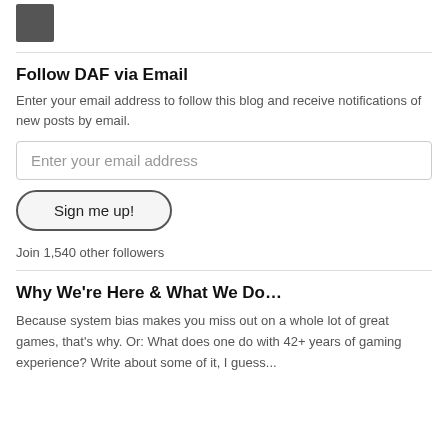[Figure (photo): Small profile photo thumbnail in upper left corner]
Follow DAF via Email
Enter your email address to follow this blog and receive notifications of new posts by email.
Enter your email address
Sign me up!
Join 1,540 other followers
Why We're Here & What We Do…
Because system bias makes you miss out on a whole lot of great games, that's why. Or: What does one do with 42+ years of gaming experience? Write about some of it, I guess...